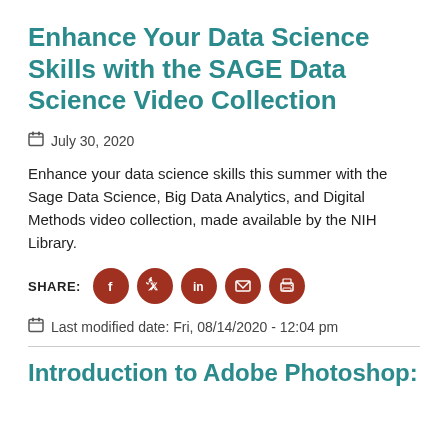Enhance Your Data Science Skills with the SAGE Data Science Video Collection
July 30, 2020
Enhance your data science skills this summer with the Sage Data Science, Big Data Analytics, and Digital Methods video collection, made available by the NIH Library.
SHARE: [social icons: Facebook, Twitter, LinkedIn, Email, Print]
Last modified date: Fri, 08/14/2020 - 12:04 pm
Introduction to Adobe Photoshop: